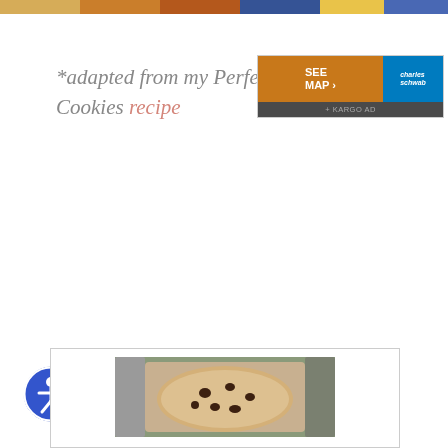[Figure (photo): Top image strip showing food/people photos]
*adapted from my Perfect Choc... Cookies recipe
[Figure (other): Advertisement box with SEE MAP button and Charles Schwab logo, with KARGO AD bar]
[Figure (other): Accessibility icon - blue circle with white person figure]
[Figure (photo): Card with chocolate chip cookie photo at bottom of page]